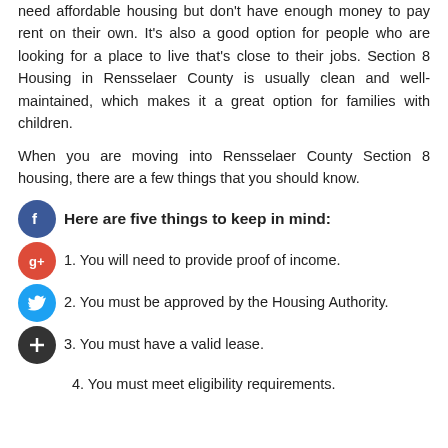need affordable housing but don't have enough money to pay rent on their own. It's also a good option for people who are looking for a place to live that's close to their jobs. Section 8 Housing in Rensselaer County is usually clean and well-maintained, which makes it a great option for families with children.

When you are moving into Rensselaer County Section 8 housing, there are a few things that you should know.
Here are five things to keep in mind:
1. You will need to provide proof of income.
2. You must be approved by the Housing Authority.
3. You must have a valid lease.
4. You must meet eligibility requirements.